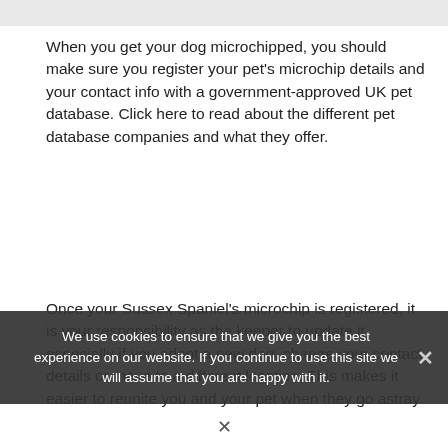When you get your dog microchipped, you should make sure you register your pet's microchip details and your contact info with a government-approved UK pet database. Click here to read about the different pet database companies and what they offer.
Once your Sussex Spaniel's microchip is registered, it is your responsibility as the keeper to update it, especially if you adopt a new dog, change your contact details or move to a different location. This makes it easier to reunite you and your pet when they go astray.
We use cookies to ensure that we give you the best experience on our website. If you continue to use this site we will assume that you are happy with it.